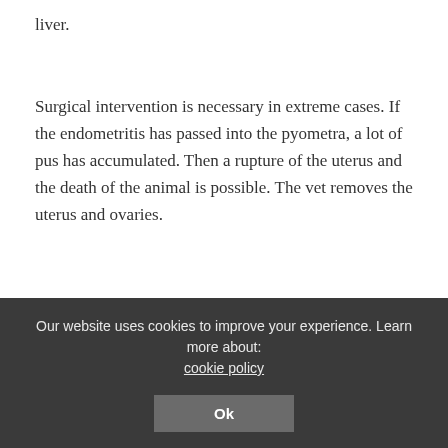liver.
Surgical intervention is necessary in extreme cases. If the endometritis has passed into the pyometra, a lot of pus has accumulated. Then a rupture of the uterus and the death of the animal is possible. The vet removes the uterus and ovaries.
After treatment, endometritis may develop again. If you do not plan to receive puppies, the dog must be
Our website uses cookies to improve your experience. Learn more about: cookie policy Ok